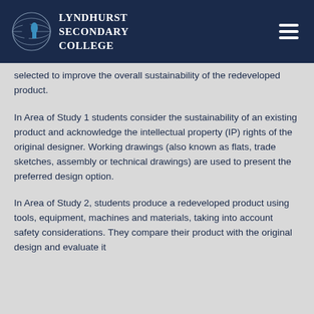Lyndhurst Secondary College
selected to improve the overall sustainability of the redeveloped product.
In Area of Study 1 students consider the sustainability of an existing product and acknowledge the intellectual property (IP) rights of the original designer. Working drawings (also known as flats, trade sketches, assembly or technical drawings) are used to present the preferred design option.
In Area of Study 2, students produce a redeveloped product using tools, equipment, machines and materials, taking into account safety considerations. They compare their product with the original design and evaluate it